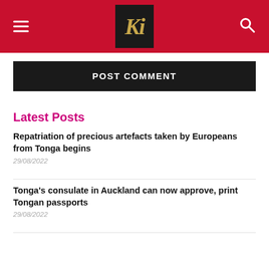Kaniva Tonga News (logo/header navigation)
POST COMMENT
Latest Posts
Repatriation of precious artefacts taken by Europeans from Tonga begins
29/08/2022
Tonga's consulate in Auckland can now approve, print Tongan passports
29/08/2022